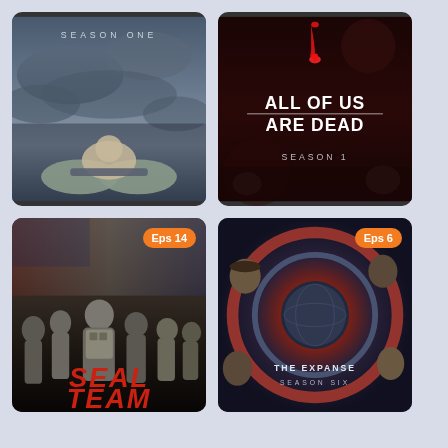[Figure (illustration): TV show poster for 'Season One' - dark stormy sky with hands holding a baby figure, text 'SEASON ONE' at top]
[Figure (illustration): TV show poster 'All of Us Are Dead Season 1' - dark red background with blood drop, zombie horror logo text]
[Figure (illustration): TV show poster 'SEAL Team' with badge 'Eps 14' - military team members in tactical gear, red bold italic title at bottom]
[Figure (illustration): TV show poster 'The Expanse Season Six' with badge 'Eps 6' - sci-fi circular design with cast members]